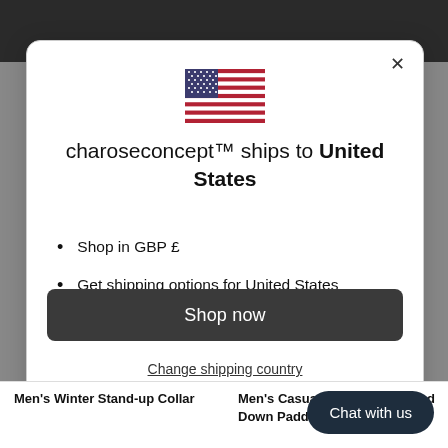[Figure (screenshot): US flag icon displayed in a modal dialog]
charoseconcept™ ships to United States
Shop in GBP £
Get shipping options for United States
Shop now
Change shipping country
Chat with us
Men's Winter Stand-up Collar
Men's Casual All-match Hooded Down Padded